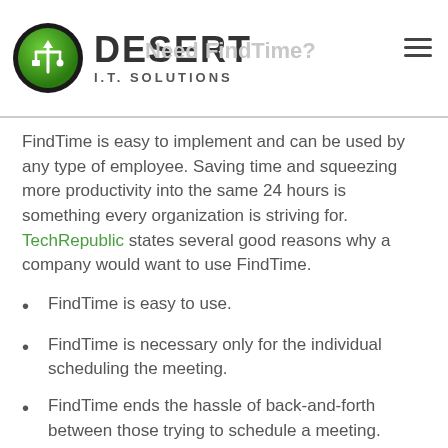Desert I.T. Solutions — Need FindTime?
FindTime is easy to implement and can be used by any type of employee. Saving time and squeezing more productivity into the same 24 hours is something every organization is striving for. TechRepublic states several good reasons why a company would want to use FindTime.
FindTime is easy to use.
FindTime is necessary only for the individual scheduling the meeting.
FindTime ends the hassle of back-and-forth between those trying to schedule a meeting.
FindTime sets up the meeting and informs each person who is invited.